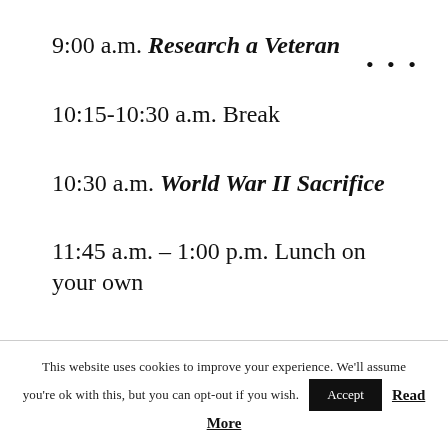9:00 a.m. Research a Veteran
10:15-10:30 a.m. Break
10:30 a.m. World War II Sacrifice
11:45 a.m. – 1:00 p.m. Lunch on your own
1:00 p.m. The Greatest Generation
This website uses cookies to improve your experience. We'll assume you're ok with this, but you can opt-out if you wish. Accept Read More